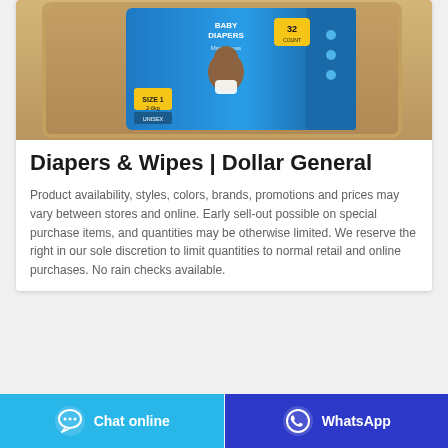[Figure (photo): Product photo of a blue baby diapers box (Mamalovas Baby Diapers, Size 1, 2-6kg, Unisex) sitting on a wooden tray surface.]
Diapers & Wipes | Dollar General
Product availability, styles, colors, brands, promotions and prices may vary between stores and online. Early sell-out possible on special purchase items, and quantities may be otherwise limited. We reserve the right in our sole discretion to limit quantities to normal retail and online purchases. No rain checks available.
[Figure (screenshot): Two call-to-action buttons: 'Chat online' (light blue) on the left with a chat bubble icon, and 'WhatsApp' (dark blue) on the right with a WhatsApp phone icon.]